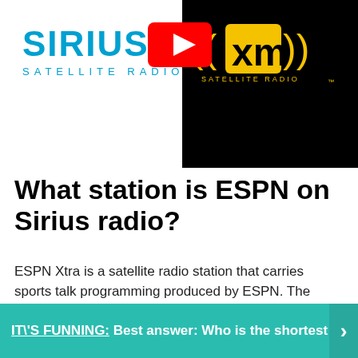[Figure (logo): Sirius Satellite Radio logo in blue with a person silhouette, overlaid with a YouTube play button icon, alongside XM Satellite Radio logo in yellow on black background]
What station is ESPN on Sirius radio?
ESPN Xtra is a satellite radio station that carries sports talk programming produced by ESPN. The channel was originally on XM 141, but is now broadcast on Sirius XM Radio channel 81.
IT\'S FUNNING:  Best answer: Who is the shortest